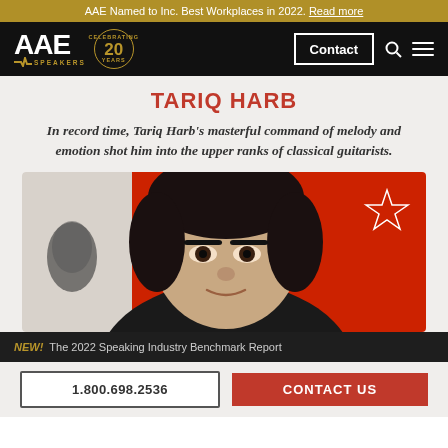AAE Named to Inc. Best Workplaces in 2022. Read more
[Figure (logo): AAE Speakers logo with 20 Years Celebrating badge on black navigation bar with Contact button, search icon, and menu icon]
TARIQ HARB
In record time, Tariq Harb's masterful command of melody and emotion shot him into the upper ranks of classical guitarists.
[Figure (photo): Close-up photo of Tariq Harb, a man with dark hair, against a red background, with a red star icon in upper right of card]
NEW! The 2022 Speaking Industry Benchmark Report
1.800.698.2536   CONTACT US